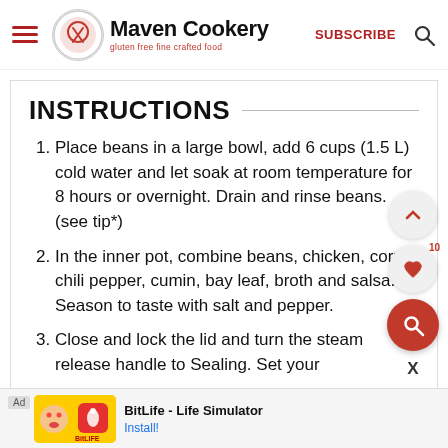Maven Cookery — gluten free fine crafted food | SUBSCRIBE
INSTRUCTIONS
Place beans in a large bowl, add 6 cups (1.5 L) cold water and let soak at room temperature for 8 hours or overnight. Drain and rinse beans. (see tip*)
In the inner pot, combine beans, chicken, corn, chili pepper, cumin, bay leaf, broth and salsa. Season to taste with salt and pepper.
Close and lock the lid and turn the steam release handle to Sealing. Set your
[Figure (screenshot): BitLife - Life Simulator advertisement banner at the bottom of the screen with Install! button]